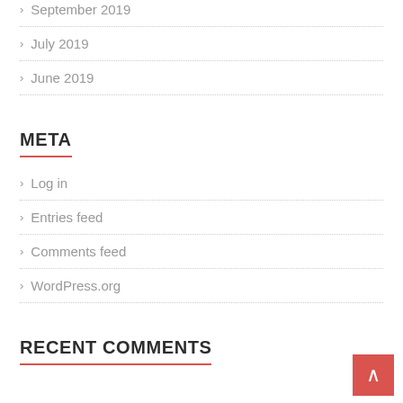September 2019
July 2019
June 2019
META
Log in
Entries feed
Comments feed
WordPress.org
RECENT COMMENTS
CATEGORIES
Blog